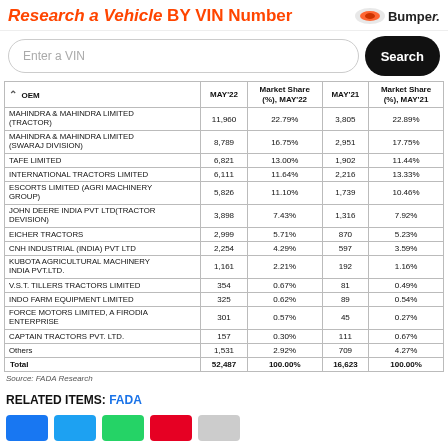Research a Vehicle BY VIN Number — Bumper
| OEM | MAY'22 | Market Share (%), MAY'22 | MAY'21 | Market Share (%), MAY'21 |
| --- | --- | --- | --- | --- |
| MAHINDRA & MAHINDRA LIMITED (TRACTOR) | 11,960 | 22.79% | 3,805 | 22.89% |
| MAHINDRA & MAHINDRA LIMITED (SWARAJ DIVISION) | 8,789 | 16.75% | 2,951 | 17.75% |
| TAFE LIMITED | 6,821 | 13.00% | 1,902 | 11.44% |
| INTERNATIONAL TRACTORS LIMITED | 6,111 | 11.64% | 2,216 | 13.33% |
| ESCORTS LIMITED (AGRI MACHINERY GROUP) | 5,826 | 11.10% | 1,739 | 10.46% |
| JOHN DEERE INDIA PVT LTD(TRACTOR DEVISION) | 3,898 | 7.43% | 1,316 | 7.92% |
| EICHER TRACTORS | 2,999 | 5.71% | 870 | 5.23% |
| CNH INDUSTRIAL (INDIA) PVT LTD | 2,254 | 4.29% | 597 | 3.59% |
| KUBOTA AGRICULTURAL MACHINERY INDIA PVT.LTD. | 1,161 | 2.21% | 192 | 1.16% |
| V.S.T. TILLERS TRACTORS LIMITED | 354 | 0.67% | 81 | 0.49% |
| INDO FARM EQUIPMENT LIMITED | 325 | 0.62% | 89 | 0.54% |
| FORCE MOTORS LIMITED, A FIRODIA ENTERPRISE | 301 | 0.57% | 45 | 0.27% |
| CAPTAIN TRACTORS PVT. LTD. | 157 | 0.30% | 111 | 0.67% |
| Others | 1,531 | 2.92% | 709 | 4.27% |
| Total | 52,487 | 100.00% | 16,623 | 100.00% |
Source: FADA Research
RELATED ITEMS: FADA